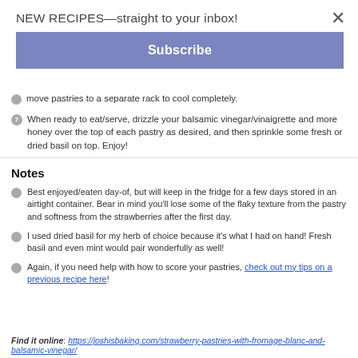NEW RECIPES—straight to your inbox!
Subscribe
move pastries to a separate rack to cool completely.
When ready to eat/serve, drizzle your balsamic vinegar/vinaigrette and more honey over the top of each pastry as desired, and then sprinkle some fresh or dried basil on top. Enjoy!
Notes
Best enjoyed/eaten day-of, but will keep in the fridge for a few days stored in an airtight container. Bear in mind you'll lose some of the flaky texture from the pastry and softness from the strawberries after the first day.
I used dried basil for my herb of choice because it's what I had on hand! Fresh basil and even mint would pair wonderfully as well!
Again, if you need help with how to score your pastries, check out my tips on a previous recipe here!
Find it online: https://joshisbaking.com/strawberry-pastries-with-fromage-blanc-and-balsamic-vinegar/